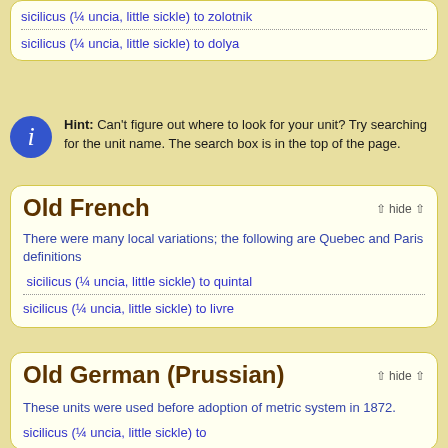sicilicus (¼ uncia, little sickle) to zolotnik
sicilicus (¼ uncia, little sickle) to dolya
Hint: Can't figure out where to look for your unit? Try searching for the unit name. The search box is in the top of the page.
Old French
There were many local variations; the following are Quebec and Paris definitions
sicilicus (¼ uncia, little sickle) to quintal
sicilicus (¼ uncia, little sickle) to livre
Old German (Prussian)
These units were used before adoption of metric system in 1872.
sicilicus (¼ uncia, little sickle) to